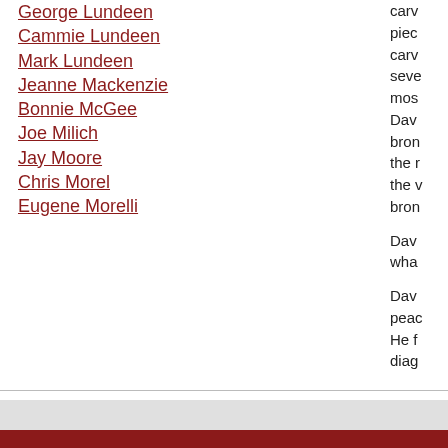George Lundeen
Cammie Lundeen
Mark Lundeen
Jeanne Mackenzie
Bonnie McGee
Joe Milich
Jay Moore
Chris Morel
Eugene Morelli
carv piece carv seve mos Dav bron the r the v bron
Dav wha
Dav peac He f diag